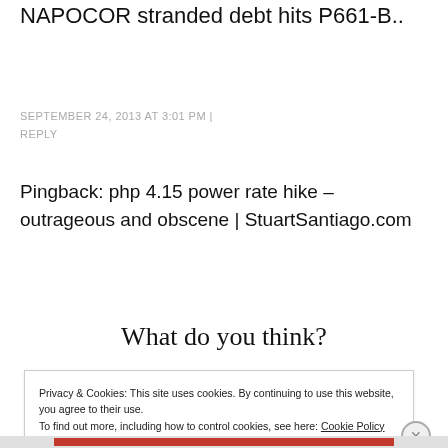NAPOCOR stranded debt hits P661-B..
SEPTEMBER 24, 2013 AT 3:01 PM | REPLY
Pingback: php 4.15 power rate hike – outrageous and obscene | StuartSantiago.com
What do you think?
Privacy & Cookies: This site uses cookies. By continuing to use this website, you agree to their use.
To find out more, including how to control cookies, see here: Cookie Policy
Close and accept